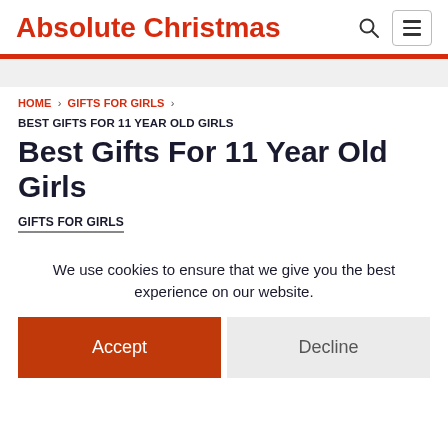Absolute Christmas
HOME > GIFTS FOR GIRLS >
BEST GIFTS FOR 11 YEAR OLD GIRLS
Best Gifts For 11 Year Old Girls
GIFTS FOR GIRLS
We use cookies to ensure that we give you the best experience on our website.
Accept
Decline